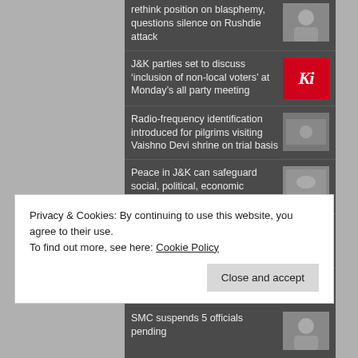rethink position on blasphemy, questions silence on Rushdie attack
J&K parties set to discuss ‘inclusion of non-local voters’ at Monday’s all party meeting
Radio-frequency identification introduced for pilgrims visiting Vaishno Devi shrine on trial basis
Peace in J&K can safeguard social, political, economic interests of people: Altaf Bukhari
Div Com appeals aspirants to register for Agniveer general duty (women)
Privacy & Cookies: By continuing to use this website, you agree to their use.
To find out more, see here: Cookie Policy
SMC suspends 5 officials pending